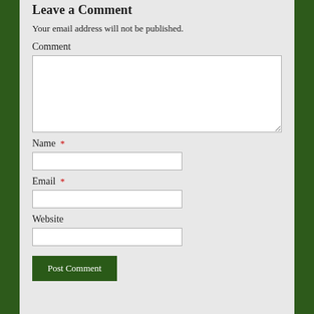Leave a Comment
Your email address will not be published.
Comment
[Figure (screenshot): A web comment form with fields for Comment (textarea), Name (required), Email (required), Website, and a Post Comment button on a light gray background]
Name *
Email *
Website
Post Comment